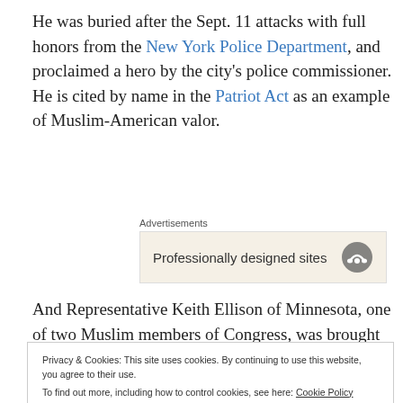He was buried after the Sept. 11 attacks with full honors from the New York Police Department, and proclaimed a hero by the city's police commissioner. He is cited by name in the Patriot Act as an example of Muslim-American valor.
Advertisements
Professionally designed sites
And Representative Keith Ellison of Minnesota, one of two Muslim members of Congress, was brought to tears during
Privacy & Cookies: This site uses cookies. By continuing to use this website, you agree to their use.
To find out more, including how to control cookies, see here: Cookie Policy
Close and accept